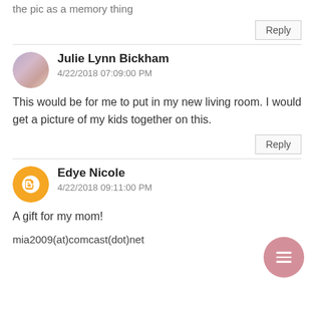the pic as a memory thing
Reply
Julie Lynn Bickham
4/22/2018 07:09:00 PM
This would be for me to put in my new living room. I would get a picture of my kids together on this.
Reply
Edye Nicole
4/22/2018 09:11:00 PM
A gift for my mom!
mia2009(at)comcast(dot)net